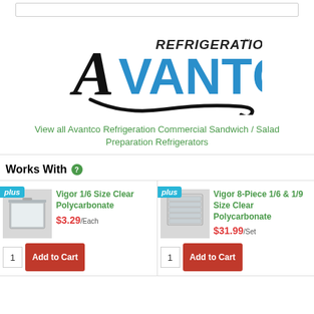[Figure (logo): Avantco Refrigeration logo with stylized text and swoosh]
View all Avantco Refrigeration Commercial Sandwich / Salad Preparation Refrigerators
Works With
[Figure (photo): Vigor 1/6 Size Clear Polycarbonate food pan product image]
Vigor 1/6 Size Clear Polycarbonate
$3.29/Each
[Figure (photo): Vigor 8-Piece 1/6 & 1/9 Size Clear Polycarbonate product image]
Vigor 8-Piece 1/6 & 1/9 Size Clear Polycarbonate
$31.99/Set